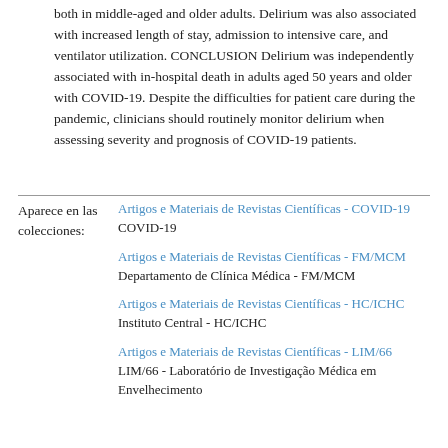both in middle-aged and older adults. Delirium was also associated with increased length of stay, admission to intensive care, and ventilator utilization. CONCLUSION Delirium was independently associated with in-hospital death in adults aged 50 years and older with COVID-19. Despite the difficulties for patient care during the pandemic, clinicians should routinely monitor delirium when assessing severity and prognosis of COVID-19 patients.
Aparece en las colecciones:
Artigos e Materiais de Revistas Científicas - COVID-19
COVID-19

Artigos e Materiais de Revistas Científicas - FM/MCM
Departamento de Clínica Médica - FM/MCM

Artigos e Materiais de Revistas Científicas - HC/ICHC
Instituto Central - HC/ICHC

Artigos e Materiais de Revistas Científicas - LIM/66
LIM/66 - Laboratório de Investigação Médica em Envelhecimento